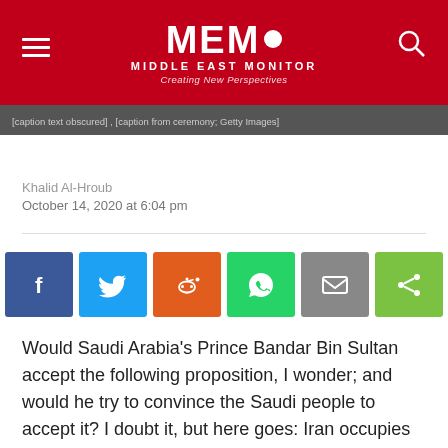MEMO MIDDLE EAST MONITOR — Creating New Perspectives
[caption text partially obscured] Images]
Khalid Al-Hroub
October 14, 2020 at 6:04 pm
[Figure (infographic): Social sharing buttons: Facebook, Twitter, Reddit, WhatsApp, Email, Share]
Would Saudi Arabia's Prince Bandar Bin Sultan accept the following proposition, I wonder; and would he try to convince the Saudi people to accept it? I doubt it, but here goes: Iran occupies Saudi Arabia — God forbid —